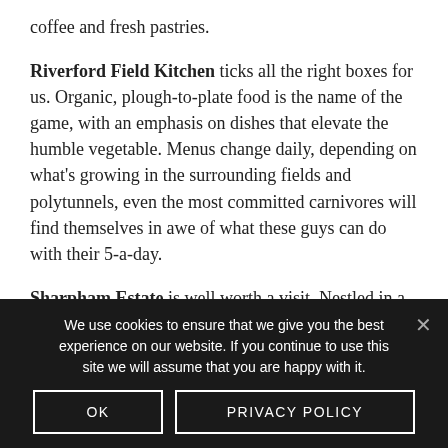coffee and fresh pastries.
Riverford Field Kitchen ticks all the right boxes for us. Organic, plough-to-plate food is the name of the game, with an emphasis on dishes that elevate the humble vegetable. Menus change daily, depending on what's growing in the surrounding fields and polytunnels, even the most committed carnivores will find themselves in awe of what these guys can do with their 5-a-day.
Sharpham Estate is well worth a visit. Nestled in a beautiful valley, this 1000-year-old farm houses its own vineyard and produces award-winning cheese. Their
We use cookies to ensure that we give you the best experience on our website. If you continue to use this site we will assume that you are happy with it.
OK
PRIVACY POLICY